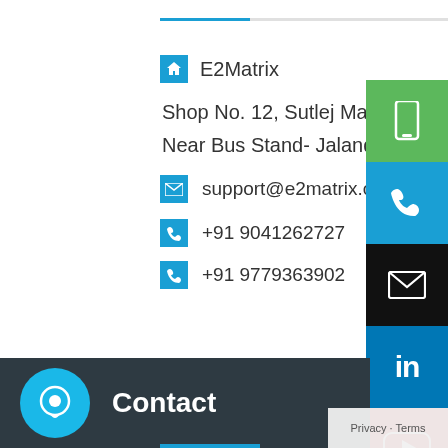E2Matrix
Shop No. 12, Sutlej Market
Near Bus Stand- Jalandhar
support@e2matrix.com
+91 9041262727
+91 9779363902
[Figure (infographic): Social media icon buttons on right sidebar: green mobile, blue phone, black email, LinkedIn, YouTube, blue mobile, Instagram (pink), Pinterest (red)]
Contact
Privacy · Terms